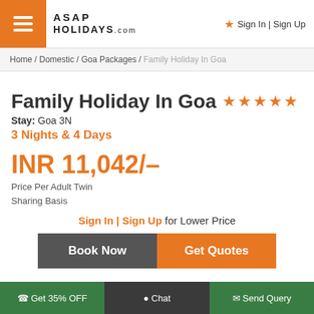ASAP HOLIDAYS.com | Sign In | Sign Up
Home / Domestic / Goa Packages / Family Holiday In Goa
Family Holiday In Goa ★★★★★
Stay: Goa 3N
3 Nights & 4 Days
INR 11,042/-
Price Per Adult Twin Sharing Basis
Sign In | Sign Up for Lower Price
Book Now
Get Quotes
Get 35% OFF | Chat | Send Query